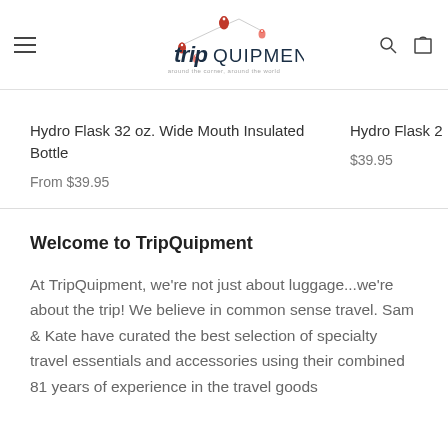[Figure (logo): TripQuipment logo with map pin icons and tagline 'around the corner, around the world']
Hydro Flask 32 oz. Wide Mouth Insulated Bottle
From $39.95
Hydro Flask 2
$39.95
Welcome to TripQuipment
At TripQuipment, we're not just about luggage...we're about the trip! We believe in common sense travel. Sam & Kate have curated the best selection of specialty travel essentials and accessories using their combined 81 years of experience in the travel goods